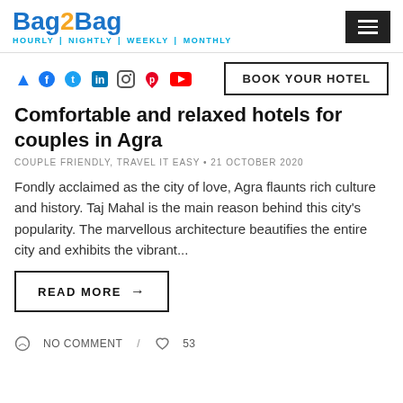Bag2Bag — HOURLY | NIGHTLY | WEEKLY | MONTHLY
Comfortable and relaxed hotels for couples in Agra
COUPLE FRIENDLY, TRAVEL IT EASY • 21 OCTOBER 2020
Fondly acclaimed as the city of love, Agra flaunts rich culture and history. Taj Mahal is the main reason behind this city's popularity. The marvellous architecture beautifies the entire city and exhibits the vibrant...
READ MORE →
NO COMMENT / 53